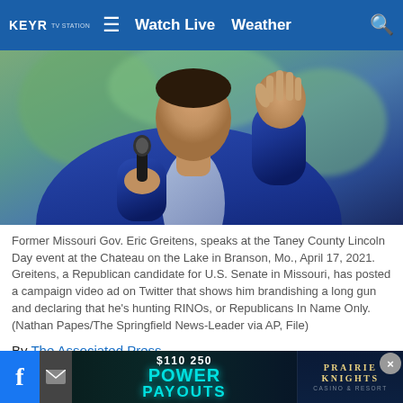KEYR  ≡  Watch Live  Weather  🔍
[Figure (photo): A man in a blue suit holds a microphone in one hand and raises his other hand, speaking at an event. Blurred background with greenery.]
Former Missouri Gov. Eric Greitens, speaks at the Taney County Lincoln Day event at the Chateau on the Lake in Branson, Mo., April 17, 2021. Greitens, a Republican candidate for U.S. Senate in Missouri, has posted a campaign video ad on Twitter that shows him brandishing a long gun and declaring that he's hunting RINOs, or Republicans In Name Only.  (Nathan Papes/The Springfield News-Leader via AP, File)
By The Associated Press
Published: Jun. 20, 2022 at 6:21 PM UTC  |
Updated: Jun. 21, 2022 at 12:16 AM UTC
[Figure (infographic): Advertisement banner: $110,250 Power Payouts - Prairie Knights Casino & Resort, with Facebook and email share icons and a close button]